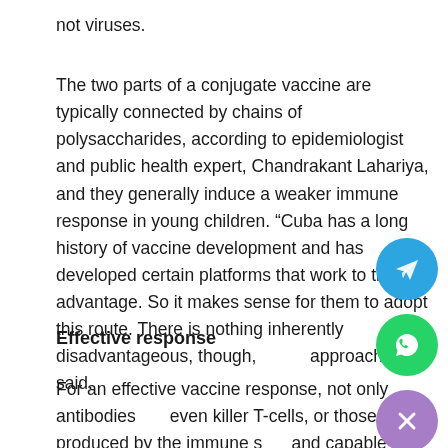not viruses.
The two parts of a conjugate vaccine are typically connected by chains of polysaccharides, according to epidemiologist and public health expert, Chandrakant Lahariya, and they generally induce a weaker immune response in young children. “Cuba has a long history of vaccine development and has developed certain platforms that work to their advantage. So it makes sense for them to adopt this route. There is nothing inherently disadvantageous, though, this approach,” he said.
Effective response
For an effective vaccine response, not only antibodies but even killer T-cells, or those produced by the immune system and capable of destroying infected cells, must be produced. In